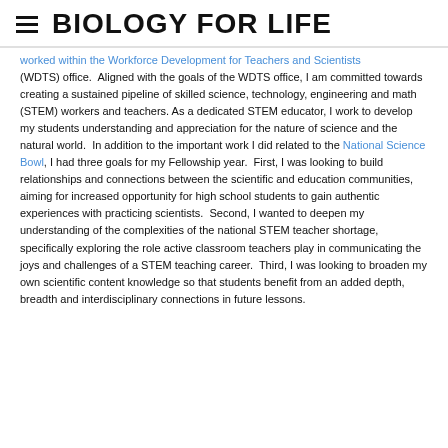BIOLOGY FOR LIFE
worked within the Workforce Development for Teachers and Scientists (WDTS) office.  Aligned with the goals of the WDTS office, I am committed towards creating a sustained pipeline of skilled science, technology, engineering and math (STEM) workers and teachers. As a dedicated STEM educator, I work to develop my students understanding and appreciation for the nature of science and the natural world.  In addition to the important work I did related to the National Science Bowl, I had three goals for my Fellowship year.  First, I was looking to build relationships and connections between the scientific and education communities, aiming for increased opportunity for high school students to gain authentic experiences with practicing scientists.  Second, I wanted to deepen my understanding of the complexities of the national STEM teacher shortage, specifically exploring the role active classroom teachers play in communicating the joys and challenges of a STEM teaching career.  Third, I was looking to broaden my own scientific content knowledge so that students benefit from an added depth, breadth and interdisciplinary connections in future lessons.